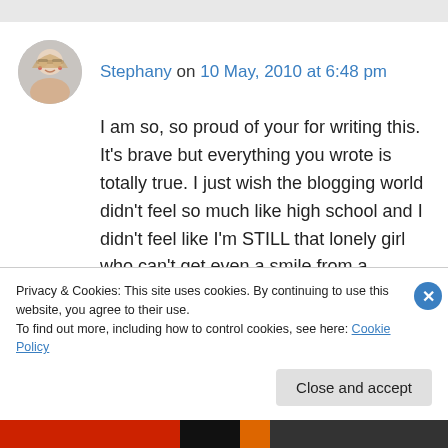[Figure (photo): Avatar photo of Stephany, a woman with glasses]
Stephany on 10 May, 2010 at 6:48 pm
I am so, so proud of your for writing this. It's brave but everything you wrote is totally true. I just wish the blogging world didn't feel so much like high school and I didn't feel like I'm STILL that lonely girl who can't get even a smile from a popular girl.
I can't stand fakeness in the blog world and I
Privacy & Cookies: This site uses cookies. By continuing to use this website, you agree to their use.
To find out more, including how to control cookies, see here: Cookie Policy